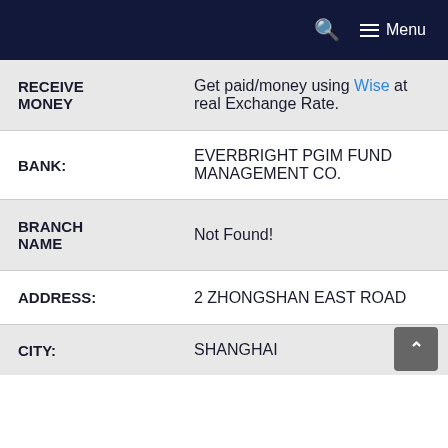Menu
| Field | Value |
| --- | --- |
| RECEIVE MONEY | Get paid/money using Wise at real Exchange Rate. |
| BANK: | EVERBRIGHT PGIM FUND MANAGEMENT CO. |
| BRANCH NAME | Not Found! |
| ADDRESS: | 2 ZHONGSHAN EAST ROAD |
| CITY: | SHANGHAI |